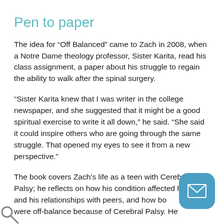Pen to paper
The idea for “Off Balanced” came to Zach in 2008, when a Notre Dame theology professor, Sister Karita, read his class assignment, a paper about his struggle to regain the ability to walk after the spinal surgery.
“Sister Karita knew that I was writer in the college newspaper, and she suggested that it might be a good spiritual exercise to write it all down,” he said. “She said it could inspire others who are going through the same struggle. That opened my eyes to see it from a new perspective.”
The book covers Zach’s life as a teen with Cerebral Palsy; he reflects on how his condition affected his life, and his relationships with peers, and how both of these were off-balance because of Cerebral Palsy. He